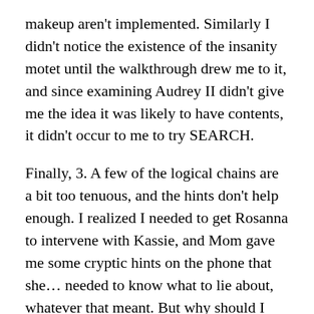makeup aren't implemented. Similarly I didn't notice the existence of the insanity motet until the walkthrough drew me to it, and since examining Audrey II didn't give me the idea it was likely to have contents, it didn't occur to me to try SEARCH.
Finally, 3. A few of the logical chains are a bit too tenuous, and the hints don't help enough. I realized I needed to get Rosanna to intervene with Kassie, and Mom gave me some cryptic hints on the phone that she... needed to know what to lie about, whatever that meant. But why should I assume that she needs the orientation memo to do this? It presumably would be possible to make up a plausible lie without it. Things like that.